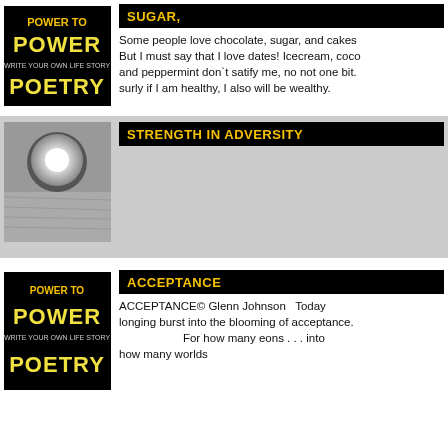[Figure (logo): Power to Poetry logo - black background with gold/yellow text]
SUGAR,
Some people love chocolate, sugar, and cakes But I must say that I love dates! Icecream, coco and peppermint don`t satify me, no not one bit. surly if I am healthy, I also will be wealthy.
[Figure (photo): Bright sun shining against gray sky/water surface]
STRENGTH IN ADVERSITY
[Figure (logo): Power to Poetry logo - black background with gold/yellow text]
ACCEPTANCE
ACCEPTANCE© Glenn Johnson   Today longing burst into the blooming of acceptance.                    For how many eons . . . into how many worlds